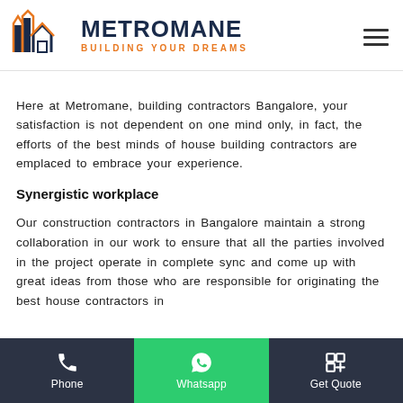[Figure (logo): Metromane logo with building/house icon in orange and dark navy, company name METROMANE in dark navy bold, tagline BUILDING YOUR DREAMS in orange]
Here at Metromane, building contractors Bangalore, your satisfaction is not dependent on one mind only, in fact, the efforts of the best minds of house building contractors are emplaced to embrace your experience.
Synergistic workplace
Our construction contractors in Bangalore maintain a strong collaboration in our work to ensure that all the parties involved in the project operate in complete sync and come up with great ideas from those who are responsible for originating the best house contractors in
Phone | Whatsapp | Get Quote